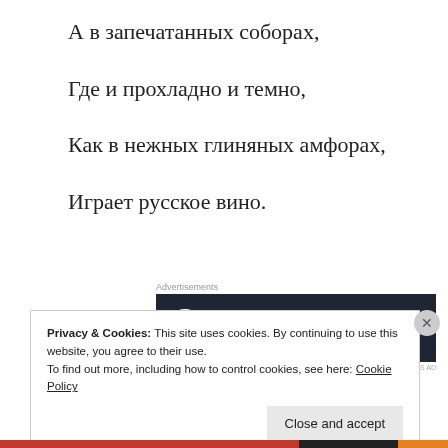А в запечатанных соборах,
Где и прохладно и темно,
Как в нежных глиняных амфорах,
Играет русское вино.
[Figure (other): Advertisement banner: dark background with tree/bonsai icon, teal text 'Turn your blog into a money-making online course.' with white arrow]
Privacy & Cookies: This site uses cookies. By continuing to use this website, you agree to their use.
To find out more, including how to control cookies, see here: Cookie Policy
Close and accept